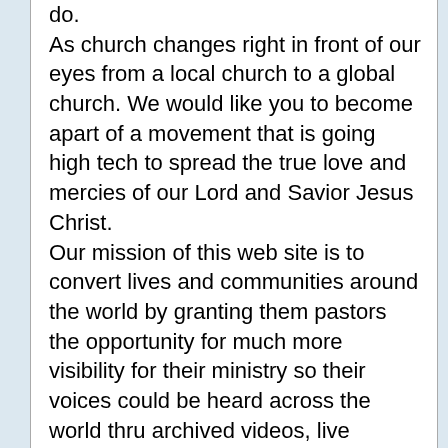do. As church changes right in front of our eyes from a local church to a global church. We would like you to become apart of a movement that is going high tech to spread the true love and mercies of our Lord and Savior Jesus Christ. Our mission of this web site is to convert lives and communities around the world by granting them pastors the opportunity for much more visibility for their ministry so their voices could be heard across the world thru archived videos, live broadcasting or radio of the gospel of Christ Jesus. We know the challenges ministries face day to day in their desire to fulfill the Great Commission. This is why Streaming Churches Online offers solutions which is able to enlarge the territory of your ministry.